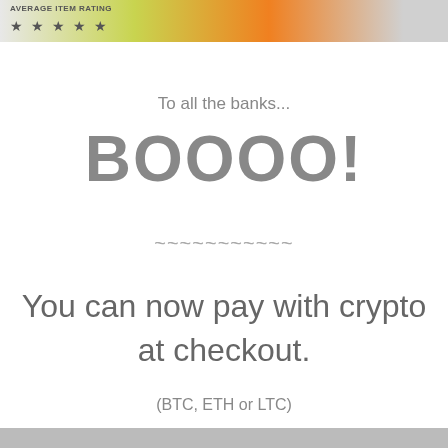[Figure (screenshot): Top banner showing partial Etsy website header with 'AVERAGE ITEM RATING' text, star ratings, Etsy logo, and a small icon]
×
To all the banks...
BOOOO!
~~~~~~~~~~~
You can now pay with crypto at checkout.
(BTC, ETH or LTC)